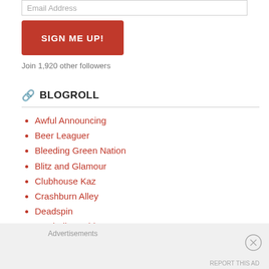Email Address
SIGN ME UP!
Join 1,920 other followers
BLOGROLL
Awful Announcing
Beer Leaguer
Bleeding Green Nation
Blitz and Glamour
Clubhouse Kaz
Crashburn Alley
Deadspin
Football Outsiders
Liberty Ballers
Advertisements